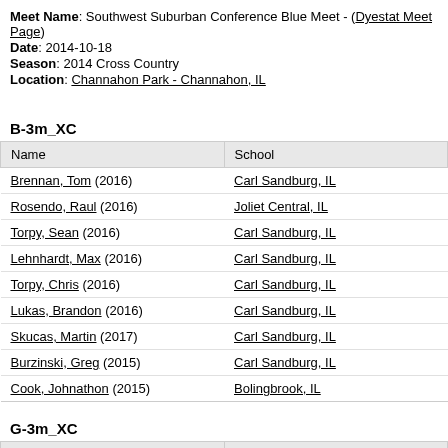Meet Name: Southwest Suburban Conference Blue Meet - (Dyestat Meet Page)
Date: 2014-10-18
Season: 2014 Cross Country
Location: Channahon Park - Channahon, IL
B-3m_XC
| Name | School |
| --- | --- |
| Brennan, Tom (2016) | Carl Sandburg, IL |
| Rosendo, Raul (2016) | Joliet Central, IL |
| Torpy, Sean (2016) | Carl Sandburg, IL |
| Lehnhardt, Max (2016) | Carl Sandburg, IL |
| Torpy, Chris (2016) | Carl Sandburg, IL |
| Lukas, Brandon (2016) | Carl Sandburg, IL |
| Skucas, Martin (2017) | Carl Sandburg, IL |
| Burzinski, Greg (2015) | Carl Sandburg, IL |
| Cook, Johnathon (2015) | Bolingbrook, IL |
G-3m_XC
| Name | School |
| --- | --- |
| Jensen, Casey (2017) | Carl Sandburg, IL |
| Bollinger, Morgan (2017) | Lockport Township , IL |
| Beaumont, Haley (2015) | Lockport Township , IL |